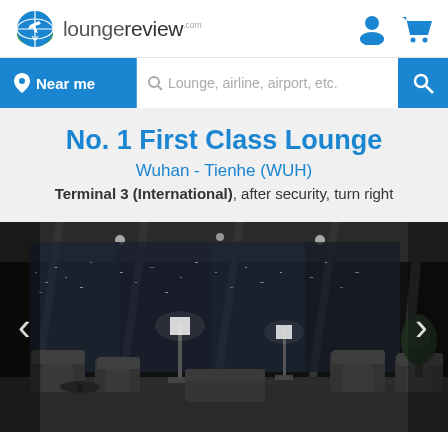[Figure (logo): loungereview.com logo with globe/plane icon]
[Figure (infographic): Navigation bar with Near me button, search field (Lounge, airline, airport, etc.), and search icon button]
No. 1 First Class Lounge
Wuhan - Tienhe (WUH)
Terminal 3 (International), after security, turn right
[Figure (photo): Black and white photo of an airport first class lounge interior at night, with armchairs, floor lamps, and panoramic windows overlooking an illuminated cityscape]